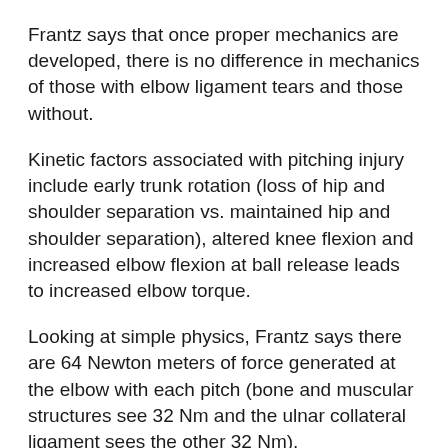Frantz says that once proper mechanics are developed, there is no difference in mechanics of those with elbow ligament tears and those without.
Kinetic factors associated with pitching injury include early trunk rotation (loss of hip and shoulder separation vs. maintained hip and shoulder separation), altered knee flexion and increased elbow flexion at ball release leads to increased elbow torque.
Looking at simple physics, Frantz says there are 64 Newton meters of force generated at the elbow with each pitch (bone and muscular structures see 32 Nm and the ulnar collateral ligament sees the other 32 Nm).
“Unfortunately what we’ve shown in lab studies looking at elbows is that (the UCL) fails at 33 to 36 units of that force,” says Frantz. “Essentially every time you throw, you’re within a